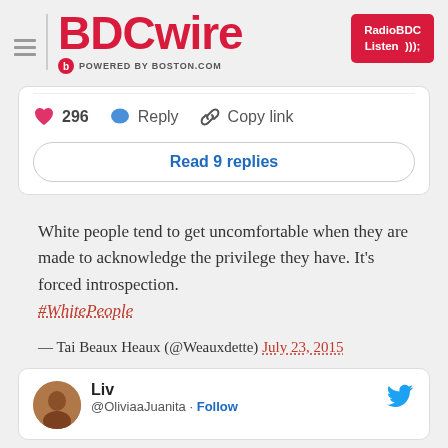BDCwire — POWERED BY BOSTON.COM — RadioBDC Listen
[Figure (screenshot): Twitter-style interaction bar with pink heart (296 likes), blue reply bubble (Reply), and link icon (Copy link), plus a 'Read 9 replies' button]
White people tend to get uncomfortable when they are made to acknowledge the privilege they have. It's forced introspection. #WhitePeople
— Tai Beaux Heaux (@Weauxdette) July 23, 2015
[Figure (screenshot): Bottom of page showing start of another tweet card with avatar of 'Liv' @OliviaaJuanita with Follow link and Twitter bird icon]